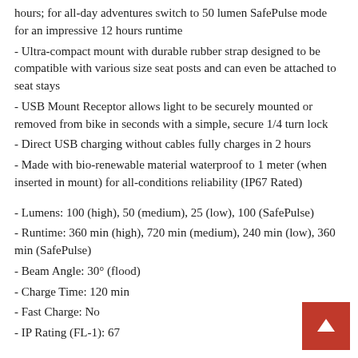hours; for all-day adventures switch to 50 lumen SafePulse mode for an impressive 12 hours runtime
- Ultra-compact mount with durable rubber strap designed to be compatible with various size seat posts and can even be attached to seat stays
- USB Mount Receptor allows light to be securely mounted or removed from bike in seconds with a simple, secure 1/4 turn lock
- Direct USB charging without cables fully charges in 2 hours
- Made with bio-renewable material waterproof to 1 meter (when inserted in mount) for all-conditions reliability (IP67 Rated)
- Lumens: 100 (high), 50 (medium), 25 (low), 100 (SafePulse)
- Runtime: 360 min (high), 720 min (medium), 240 min (low), 360 min (SafePulse)
- Beam Angle: 30° (flood)
- Charge Time: 120 min
- Fast Charge: No
- IP Rating (FL-1): 67